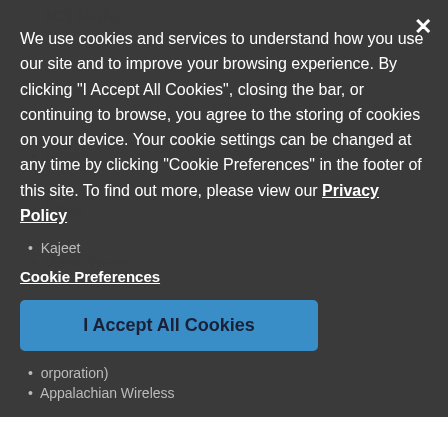ACS Alaska
Leksim
Ntelos
Viaero Wireless
We use cookies and services to understand how you use our site and to improve your browsing experience. By clicking "I Accept All Cookies", closing the bar, or continuing to browse, you agree to the storing of cookies on your device. Your cookie settings can be changed at any time by clicking "Cookie Preferences" in the footer of this site. To find out more, please view our Privacy Policy
Kajeet
Cookie Preferences
I Accept All Cookies
orporation)
Appalachian Wireless
Immix Wireless
Revol Wireless
Cellular One of East Central Illinois
Bluegrass Cellular
West Central Wireless